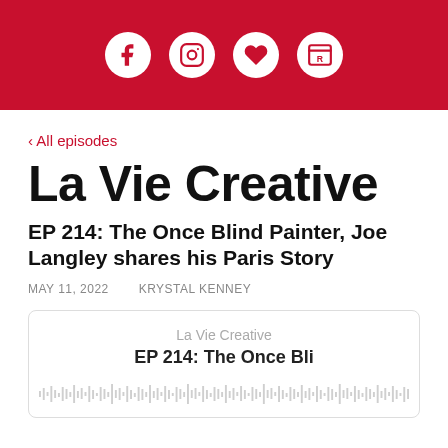Social media icons: Facebook, Instagram, Heart, Browser
‹ All episodes
La Vie Creative
EP 214: The Once Blind Painter, Joe Langley shares his Paris Story
MAY 11, 2022    KRYSTAL KENNEY
[Figure (screenshot): Podcast player card showing 'La Vie Creative' and 'EP 214: The Once Bli...' with audio waveform at the bottom]